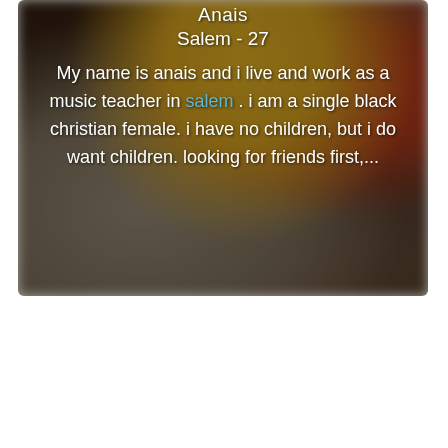[Figure (photo): Blurred colorful background photo (yellows, reds, grays) serving as a profile card background for a dating/social profile]
Anais
Salem - 27
My name is anais and i live and work as a music teacher in salem . i am a single black christian female. i have no children, but i do want children. looking for friends first,...